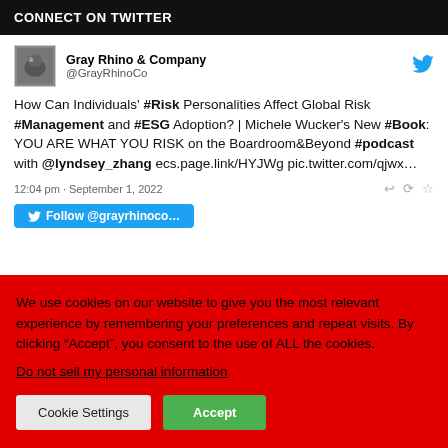CONNECT ON TWITTER
Gray Rhino & Company @GrayRhinoCo
How Can Individuals' #Risk Personalities Affect Global Risk #Management and #ESG Adoption? | Michele Wucker's New #Book: YOU ARE WHAT YOU RISK on the Boardroom&Beyond #podcast with @lyndsey_zhang ecs.page.link/HYJWg pic.twitter.com/qjwx…
12:04 pm · September 1, 2022
Follow @grayrhino...
We use cookies on our website to give you the most relevant experience by remembering your preferences and repeat visits. By clicking "Accept", you consent to the use of ALL the cookies.
Do not sell my personal information
Cookie Settings
Accept